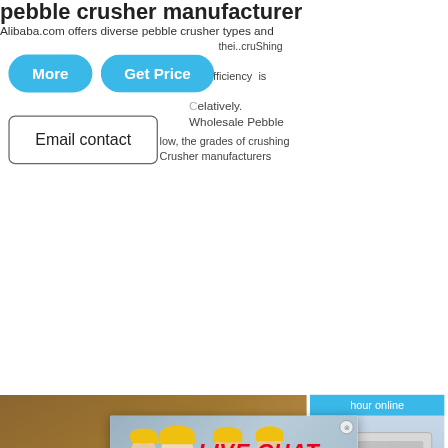pebble crusher manufacturer
Alibaba.com offers diverse pebble crusher types and their crushing efficiency is relatively low, the grades of crushing Wholesale Pebble Crusher manufacturers
[Figure (screenshot): Blue 'More' button]
[Figure (screenshot): Blue 'Get Price' button]
[Figure (screenshot): Email contact button with border]
[Figure (photo): Industrial crusher machinery at a site with sandy ground]
[Figure (photo): Live chat popup with workers in hard hats, LIVE CHAT title in red, Chat now and Chat later buttons]
[Figure (screenshot): Right sidebar with crusher machine image, hour online text, Click me to chat button]
Enquiry
mumumugoods
[Figure (photo): Close-up of ball mill or industrial grinding machine]